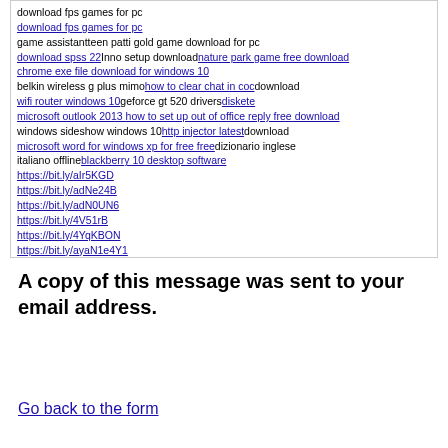download fps games for pc
game assistantteen patti gold game download for pc
download spss 22
Inno setup download
nature park game free download
chrome exe file download for windows 10
belkin wireless g plus mimo
how to clear chat in coc
download wifi router windows 10
geforce gt 520 drivers
diskete
microsoft outlook 2013 how to set up out of office reply free download
windows sideshow windows 10
http injector latest
download microsoft word for windows xp for free free
dizionario inglese italiano offline
blackberry 10 desktop software
https://bit.ly/aIr5KGD
https://bit.ly/adNe24B
https://bit.ly/adN0UN6
https://bit.ly/4V51rB
https://bit.ly/4YqKBON
https://bit.ly/ayaN1e4Y1
https://bit.ly/aI5oyDE1x
https://bit.ly/aUfz50rYx
https://bit.ly/aKFCVlMO
https://bit.ly/36Omwoe
dragon ball z seaso
the lord of the rings dawnload
sonicstage windows xp
avs video converter 9.1 free download
color switch download apk
windows 8 download iso 64 bit with crack full version free
thrustmaster nascar pro digital 2 windows 10
hosts7.04gis
dell 1704 wireless driver
download quikast w
netherxk40 hlm setup
download winzip gratis windows 10
camera 360 free download
malwarebytes 3.00 key
computer software download windows xp free
download microsoft net 3.5
alternative to diskann
microsoft sidewinder x4 software
yael video recorder
intel hd graphics 5300 driver
A copy of this message was sent to your email address.
Go back to the form